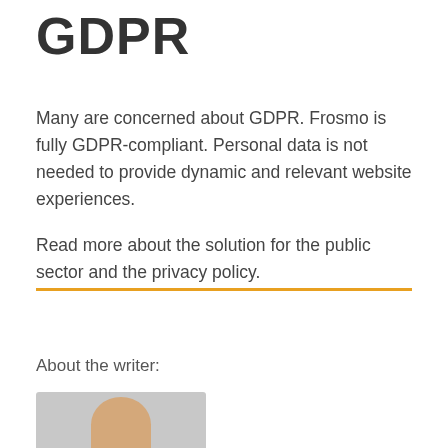GDPR
Many are concerned about GDPR. Frosmo is fully GDPR-compliant. Personal data is not needed to provide dynamic and relevant website experiences.
Read more about the solution for the public sector and the privacy policy.
About the writer:
[Figure (photo): Partial photo of a person with light hair, cropped at bottom of page, gray background]